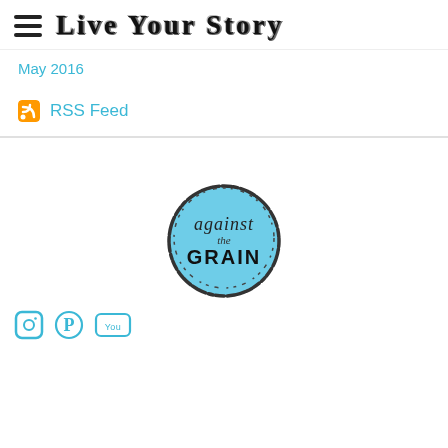Live Your Story
May 2016
RSS Feed
[Figure (logo): Circular badge/stamp logo with light blue fill, rough hand-drawn circle border, text reading 'against the GRAIN']
[Figure (logo): Footer social media icons: Instagram, Pinterest, YouTube]